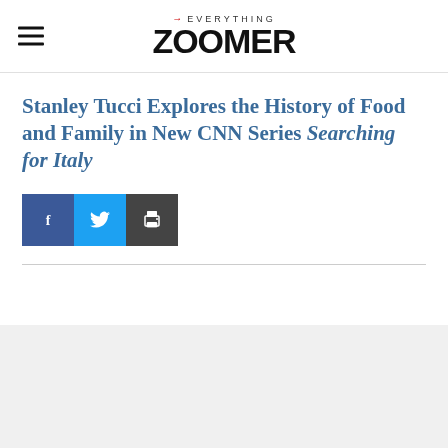→EVERYTHING ZOOMER
Stanley Tucci Explores the History of Food and Family in New CNN Series Searching for Italy
[Figure (infographic): Social share buttons: Facebook, Twitter, and Print icons]